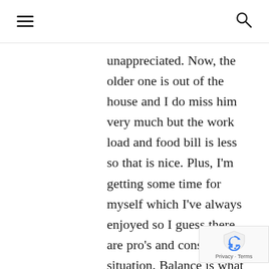☰ 🔍
unappreciated. Now, the older one is out of the house and I do miss him very much but the work load and food bill is less so that is nice. Plus, I'm getting some time for myself which I've always enjoyed so I guess there are pro's and cons to every situation. Balance is what we need but life seems to be more one extreme or the other. Kids are a "package deal" though so thank